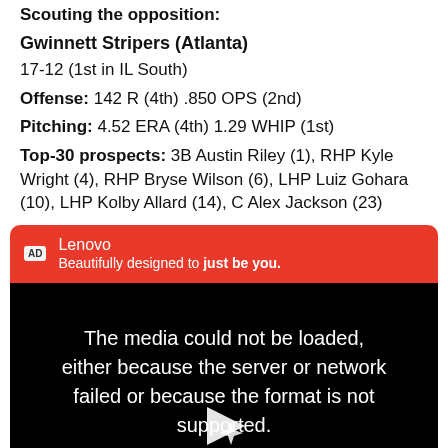Scouting the opposition:
Gwinnett Stripers (Atlanta)
17-12 (1st in IL South)
Offense: 142 R (4th) .850 OPS (2nd)
Pitching: 4.52 ERA (4th) 1.29 WHIP (1st)
Top-30 prospects: 3B Austin Riley (1), RHP Kyle Wright (4), RHP Bryse Wilson (6), LHP Luiz Gohara (10), LHP Kolby Allard (14), C Alex Jackson (23)
[Figure (screenshot): Lenovo advertisement banner with red background showing 'Beautifully designed to just be you.' followed by a video player showing error message 'The media could not be loaded, either because the server or network failed or because the format is not supported.']